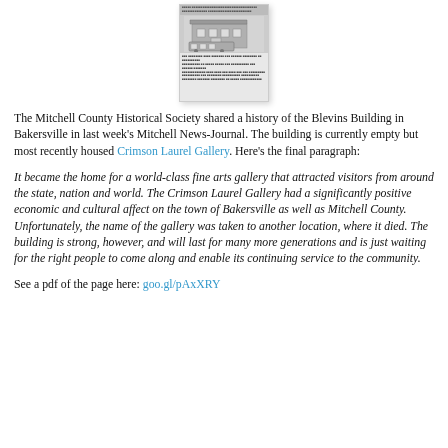[Figure (photo): A small thumbnail image of a document page showing the Blevins Building in Bakersville, including a photograph of the building and dense text below it.]
The Mitchell County Historical Society shared a history of the Blevins Building in Bakersville in last week’s Mitchell News-Journal. The building is currently empty but most recently housed Crimson Laurel Gallery. Here’s the final paragraph:
It became the home for a world-class fine arts gallery that attracted visitors from around the state, nation and world. The Crimson Laurel Gallery had a significantly positive economic and cultural affect on the town of Bakersville as well as Mitchell County. Unfortunately, the name of the gallery was taken to another location, where it died. The building is strong, however, and will last for many more generations and is just waiting for the right people to come along and enable its continuing service to the community.
See a pdf of the page here: goo.gl/pAxXRY